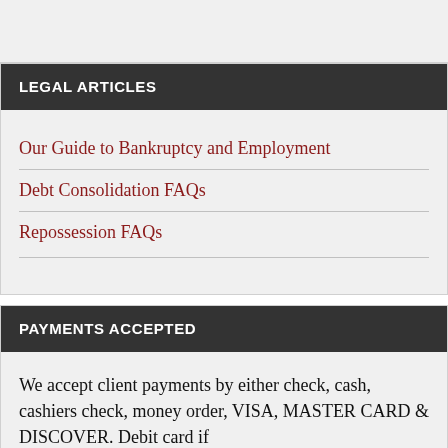LEGAL ARTICLES
Our Guide to Bankruptcy and Employment
Debt Consolidation FAQs
Repossession FAQs
PAYMENTS ACCEPTED
We accept client payments by either check, cash, cashiers check, money order, VISA, MASTER CARD & DISCOVER. Debit card if